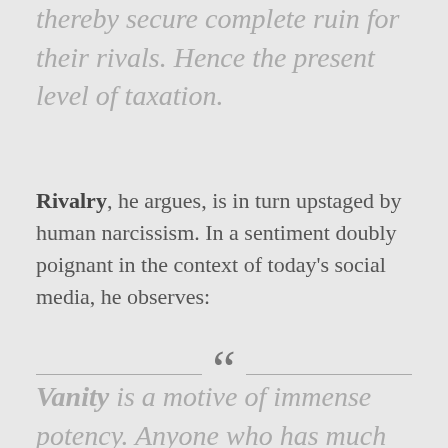thereby secure complete ruin for their rivals. Hence the present level of taxation.
Rivalry, he argues, is in turn upstaged by human narcissism. In a sentiment doubly poignant in the context of today's social media, he observes:
[Figure (other): Decorative quotation mark divider with horizontal lines on either side and a large open double-quote mark in the center]
Vanity is a motive of immense potency. Anyone who has much to do